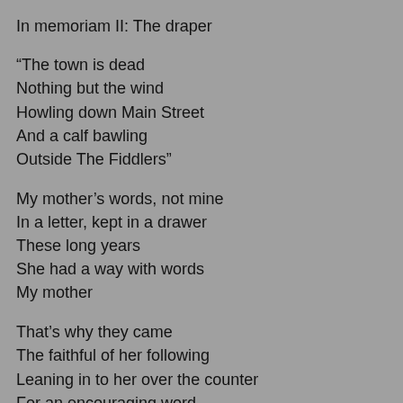In memoriam II: The draper
“The town is dead
Nothing but the wind
Howling down Main Street
And a calf bawling
Outside The Fiddlers”
My mother’s words, not mine
In a letter, kept in a drawer
These long years
She had a way with words
My mother
That’s why they came
The faithful of her following
Leaning in to her over the counter
For an encouraging word
Or the promise of a novena